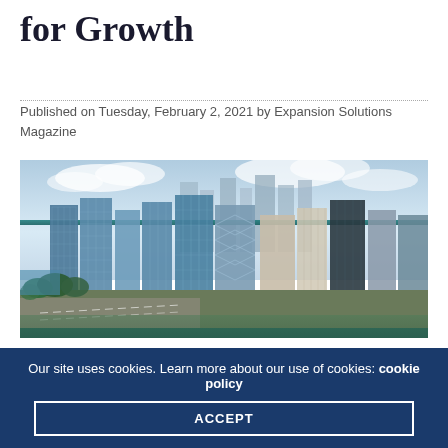for Growth
Published on Tuesday, February 2, 2021 by Expansion Solutions Magazine
[Figure (photo): Aerial view of a dense urban skyline with tall glass and steel skyscrapers, a highway visible at the bottom left, green trees, and a partly cloudy sky. Appears to be a major North American city.]
Our site uses cookies. Learn more about our use of cookies: cookie policy
ACCEPT